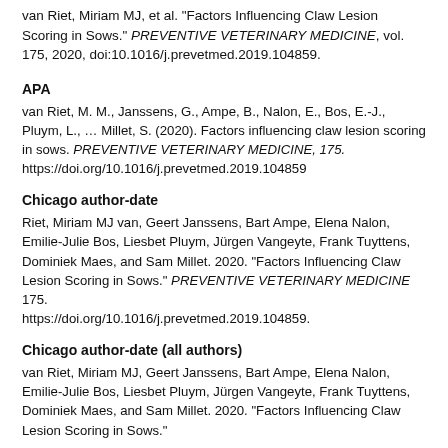van Riet, Miriam MJ, et al. "Factors Influencing Claw Lesion Scoring in Sows." PREVENTIVE VETERINARY MEDICINE, vol. 175, 2020, doi:10.1016/j.prevetmed.2019.104859.
APA
van Riet, M. M., Janssens, G., Ampe, B., Nalon, E., Bos, E.-J., Pluym, L., ... Millet, S. (2020). Factors influencing claw lesion scoring in sows. PREVENTIVE VETERINARY MEDICINE, 175. https://doi.org/10.1016/j.prevetmed.2019.104859
Chicago author-date
Riet, Miriam MJ van, Geert Janssens, Bart Ampe, Elena Nalon, Emilie-Julie Bos, Liesbet Pluym, Jürgen Vangeyte, Frank Tuyttens, Dominiek Maes, and Sam Millet. 2020. "Factors Influencing Claw Lesion Scoring in Sows." PREVENTIVE VETERINARY MEDICINE 175. https://doi.org/10.1016/j.prevetmed.2019.104859.
Chicago author-date (all authors)
van Riet, Miriam MJ, Geert Janssens, Bart Ampe, Elena Nalon, Emilie-Julie Bos, Liesbet Pluym, Jürgen Vangeyte, Frank Tuyttens, Dominiek Maes, and Sam Millet. 2020. "Factors Influencing Claw Lesion Scoring in Sows."